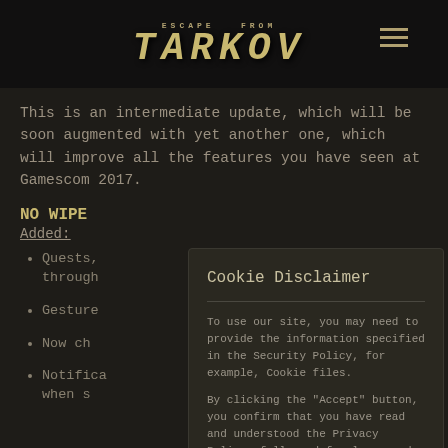ESCAPE FROM TARKOV
This is an intermediate update, which will be soon augmented with yet another one, which will improve all the features you have seen at Gamescom 2017.
NO WIPE
Added:
Quests... through
Gesture
Now ch
Notifica... when s
Cookie Disclaimer
To use our site, you may need to provide the information specified in the Security Policy, for example, Cookie files.
By clicking the "Accept" button, you confirm that you have read and understood the Privacy Policy, fully and freely agreed to have your data collected and processed in the ways and for the purposes indicated in the Privacy Policy. Learn more.
ACCEPT